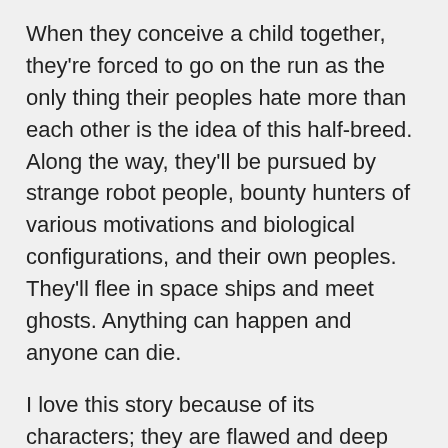When they conceive a child together, they're forced to go on the run as the only thing their peoples hate more than each other is the idea of this half-breed. Along the way, they'll be pursued by strange robot people, bounty hunters of various motivations and biological configurations, and their own peoples. They'll flee in space ships and meet ghosts. Anything can happen and anyone can die.
I love this story because of its characters; they are flawed and deep and thoughtful and interesting. Even the side characters and antagonists are compelling and interesting; no one is simplistic or easily defined here. It's a powerful story that will stay in your heart and mind long after you've put it down and it's a story filled with amazing visuals and beautiful art. And some of that art is graphic robot sex.
Changing gears completely, I'm also going to recommend